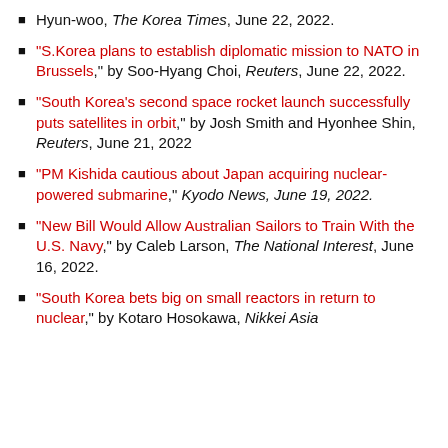Hyun-woo, The Korea Times, June 22, 2022.
"S.Korea plans to establish diplomatic mission to NATO in Brussels," by Soo-Hyang Choi, Reuters, June 22, 2022.
"South Korea's second space rocket launch successfully puts satellites in orbit," by Josh Smith and Hyonhee Shin, Reuters, June 21, 2022
"PM Kishida cautious about Japan acquiring nuclear-powered submarine," Kyodo News, June 19, 2022.
"New Bill Would Allow Australian Sailors to Train With the U.S. Navy," by Caleb Larson, The National Interest, June 16, 2022.
"South Korea bets big on small reactors in return to nuclear," by Kotaro Hosokawa, Nikkei Asia